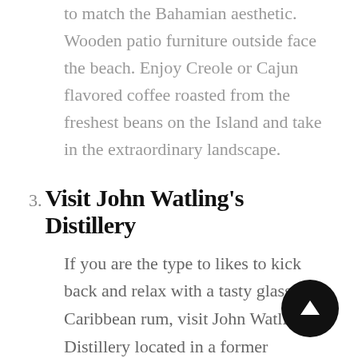to match the Bahamian aesthetic. Wooden patio furniture outside face the beach. Enjoy Creole or Cajun flavored coffee roasted from the freshest beans on the Island and take in the extraordinary landscape.
3. Visit John Watling's Distillery
If you are the type to likes to kick back and relax with a tasty glass of Caribbean rum, visit John Watling's Distillery located in a former plantation house. Named after the former pirate, Watling's Distillery showcases some of Bahama's most luxurious rum cocktails. In addition to tours, guests can purchase bottles of Rum that are only available in the